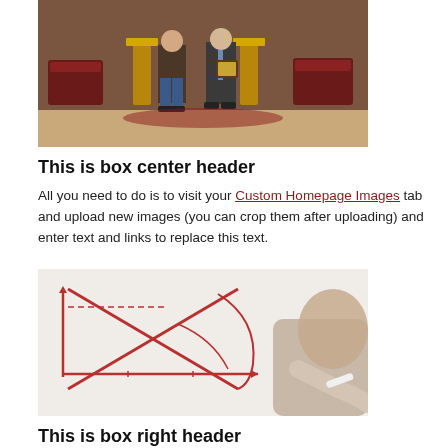[Figure (photo): Two men standing in an ornate hall; one holding an award plaque]
This is box center header
All you need to do is to visit your Custom Homepage Images tab and upload new images (you can crop them after uploading) and enter text and links to replace this text.
[Figure (photo): Person writing diagrams with red marker on a whiteboard, showing intersecting curves]
This is box right header